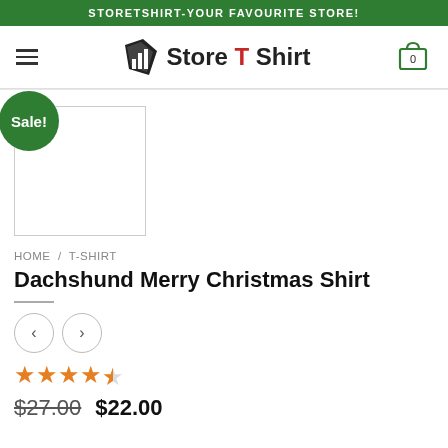STORETSHIRT-YOUR FAVOURITE STORE!
[Figure (logo): Store T Shirt logo with shopping bag icon and hamburger menu]
[Figure (photo): Product image area with Sale! badge, white square product thumbnail]
HOME / T-SHIRT
Dachshund Merry Christmas Shirt
[Figure (other): Left and right navigation arrow buttons]
[Figure (other): Star rating: approximately 4.5 out of 5 stars]
$27.00  $22.00